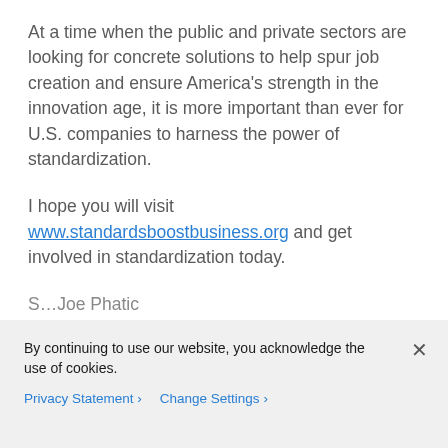At a time when the public and private sectors are looking for concrete solutions to help spur job creation and ensure America's strength in the innovation age, it is more important than ever for U.S. companies to harness the power of standardization.
I hope you will visit www.standardsboostbusiness.org and get involved in standardization today.
S…Joe Phatic
By continuing to use our website, you acknowledge the use of cookies.
Privacy Statement > Change Settings >